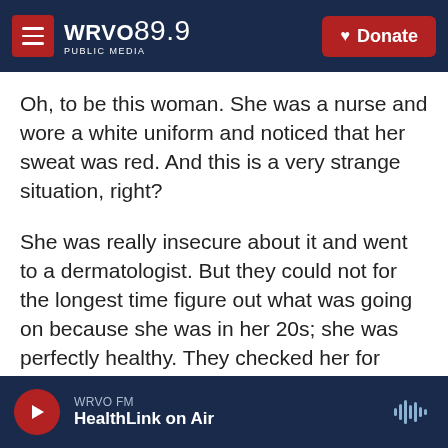WRVO PUBLIC MEDIA 89.9 | Donate
Oh, to be this woman. She was a nurse and wore a white uniform and noticed that her sweat was red. And this is a very strange situation, right?
She was really insecure about it and went to a dermatologist. But they could not for the longest time figure out what was going on because she was in her 20s; she was perfectly healthy. They checked her for everything.
One day she comes to the clinic for a follow-up appointment, and one of the doctors notices her
WRVO FM | HealthLink on Air